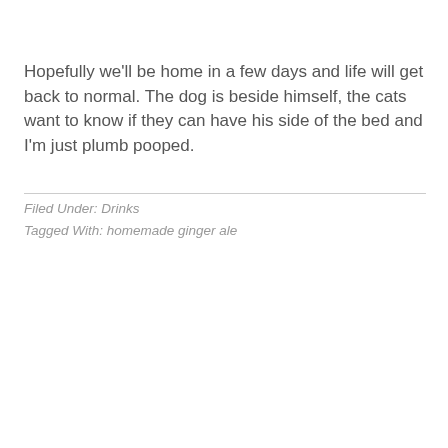Hopefully we'll be home in a few days and life will get back to normal. The dog is beside himself, the cats want to know if they can have his side of the bed and I'm just plumb pooped.
Filed Under: Drinks
Tagged With: homemade ginger ale